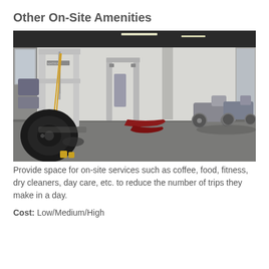Other On-Site Amenities
[Figure (photo): Interior of a fitness/gym space with exercise equipment including cable machines, TRX straps, weight sleds, and stationary bikes on a grey floor with white walls and exposed black ceiling.]
Provide space for on-site services such as coffee, food, fitness, dry cleaners, day care, etc. to reduce the number of trips they make in a day.
Cost: Low/Medium/High